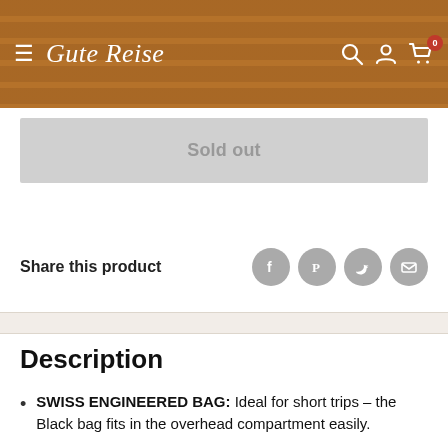Gute Reise — navigation header with hamburger menu, logo, search, account, and cart (0 items)
Sold out
Share this product
Description
SWISS ENGINEERED BAG: Ideal for short trips – the Black bag fits in the overhead compartment easily.
SMART PACKING: This bag features dividers and compression straps to hold items securely in place.
DURABLE MATERIAL: The Victorinox Garment Bag is